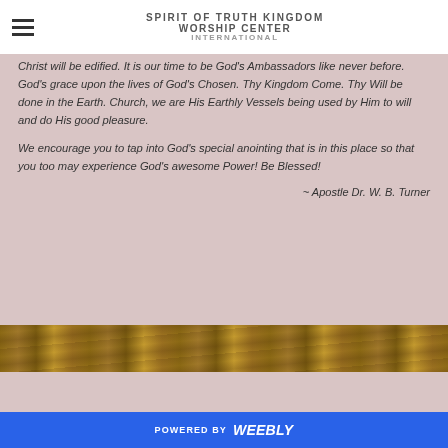SPIRIT OF TRUTH KINGDOM WORSHIP CENTER INTERNATIONAL
Christ will be edified. It is our time to be God’s Ambassadors like never before. God’s grace upon the lives of God’s Chosen. Thy Kingdom Come. Thy Will be done in the Earth. Church, we are His Earthly Vessels being used by Him to will and do His good pleasure.
We encourage you to tap into God’s special anointing that is in this place so that you too may experience God’s awesome Power! Be Blessed!
~ Apostle Dr. W. B. Turner
[Figure (photo): Horizontal band of wood grain texture in warm brown tones]
POWERED BY weebly